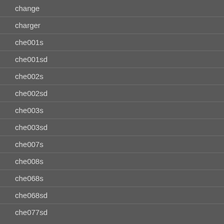change
charger
che001s
che001sd
che002s
che002sd
che003s
che003sd
che007s
che008s
che068s
che068sd
che077sd